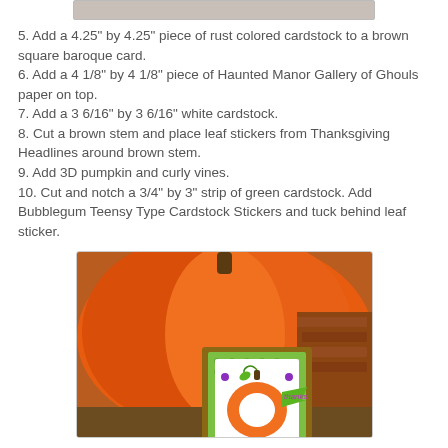[Figure (photo): Top portion of a photo, partially visible at top of page showing a light beige/brown colored strip]
5. Add a 4.25" by 4.25" piece of rust colored cardstock to a brown square baroque card.
6. Add a 4 1/8" by 4 1/8" piece of Haunted Manor Gallery of Ghouls paper on top.
7. Add a 3 6/16" by 3 6/16" white cardstock.
8. Cut a brown stem and place leaf stickers from Thanksgiving Headlines around brown stem.
9. Add 3D pumpkin and curly vines.
10. Cut and notch a 3/4" by 3" strip of green cardstock. Add Bubblegum Teensy Type Cardstock Stickers and tuck behind leaf sticker.
[Figure (photo): Photo of a handmade greeting card with a 3D pumpkin design on green polka-dot paper with a 'thanks' tag, propped in front of a large orange pumpkin outdoors]